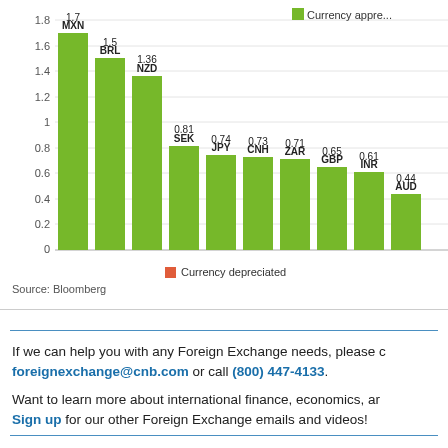[Figure (bar-chart): Currency appreciation/depreciation vs USD]
If we can help you with any Foreign Exchange needs, please contact foreignexchange@cnb.com or call (800) 447-4133.
Want to learn more about international finance, economics, and more? Sign up for our other Foreign Exchange emails and videos!